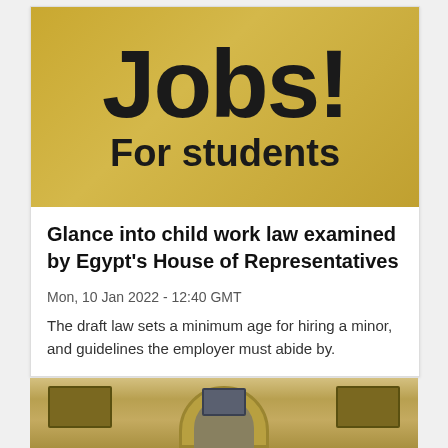[Figure (photo): Gold/yellow background banner reading 'Jobs! For students' in large bold black text]
Glance into child work law examined by Egypt's House of Representatives
Mon, 10 Jan 2022 - 12:40 GMT
The draft law sets a minimum age for hiring a minor, and guidelines the employer must abide by.
[Figure (photo): Photo of an indoor hallway or building interior with arched architecture, banners, and screens]